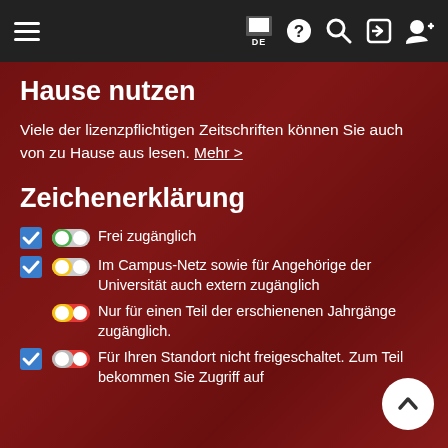Navigation bar with hamburger menu, flag/DE, help, search, login, register icons
Hause nutzen
Viele der lizenzpflichtigen Zeitschriften können Sie auch von zu Hause aus lesen. Mehr >
Zeichenerklärung
Frei zugänglich
Im Campus-Netz sowie für Angehörige der Universität auch extern zugänglich
Nur für einen Teil der erschienenen Jahrgänge zugänglich.
Für Ihren Standort nicht freigeschaltet. Zum Teil bekommen Sie Zugriff auf